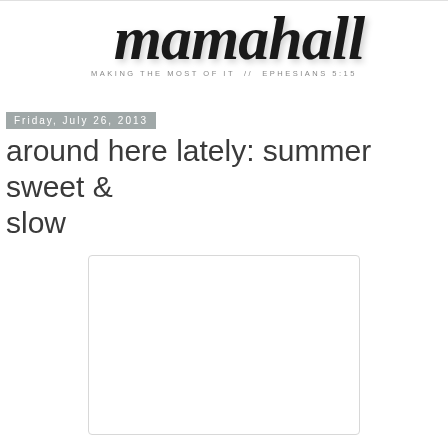mamahall — MAKING THE MOST OF IT // EPHESIANS 5:15
Friday, July 26, 2013
around here lately: summer sweet & slow
[Figure (photo): White/blank image placeholder rectangle with light border]